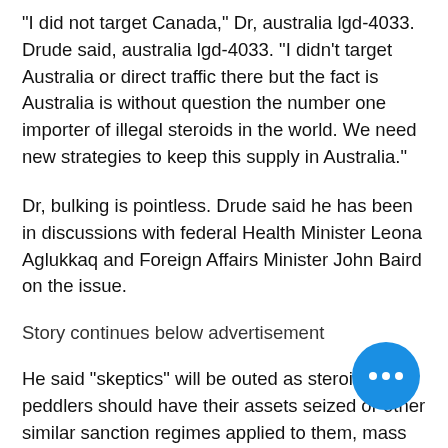"I did not target Canada," Dr, australia lgd-4033. Drude said, australia lgd-4033. "I didn't target Australia or direct traffic there but the fact is Australia is without question the number one importer of illegal steroids in the world. We need new strategies to keep this supply in Australia."
Dr, bulking is pointless. Drude said he has been in discussions with federal Health Minister Leona Aglukkaq and Foreign Affairs Minister John Baird on the issue.
Story continues below advertisement
He said "skeptics" will be outed as steroid peddlers should have their assets seized or other similar sanction regimes applied to them, mass gainer quanti grammi.
"There is a tremendous amount of interest coming from the United States, among the